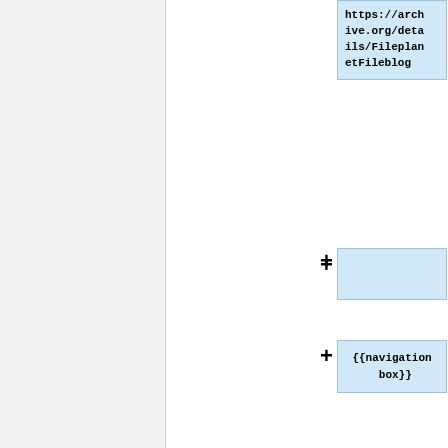https://archive.org/details/FileplanetFileblog
{{navigation box}}
Revision as of 15:29, 20 April 2022
[Figure (screenshot): FilePlanet infobox card showing the FilePlanet logo (powered by IGN), and a screenshot of the FilePlanet website with a red archive notice bar, blue navigation bar, and game content featuring Defense Grid]
FilePlanet